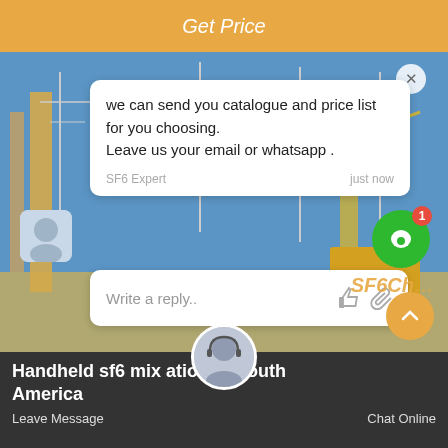Get Price
[Figure (screenshot): Industrial electrical substation background with high-voltage equipment, cranes, and power lines.]
we can send you catalogue and price list for you choosing.
Leave us your email or whatsapp .
SF6 Expert   just now
Write a reply..
Handheld sf6 mix [ratio test] ation in South America
Leave Message   Chat Online